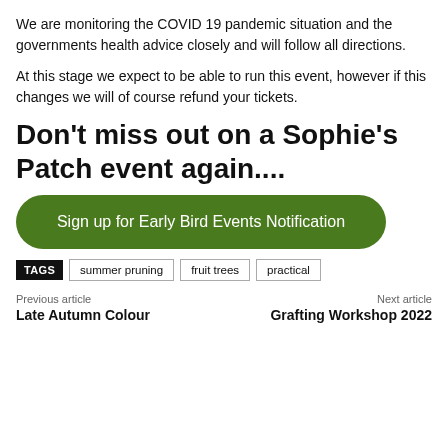We are monitoring the COVID 19 pandemic situation and the governments health advice closely and will follow all directions.
At this stage we expect to be able to run this event, however if this changes we will of course refund your tickets.
Don't miss out on a Sophie's Patch event again....
Sign up for Early Bird Events Notification
TAGS  summer pruning  fruit trees  practical
Previous article
Late Autumn Colour
Next article
Grafting Workshop 2022